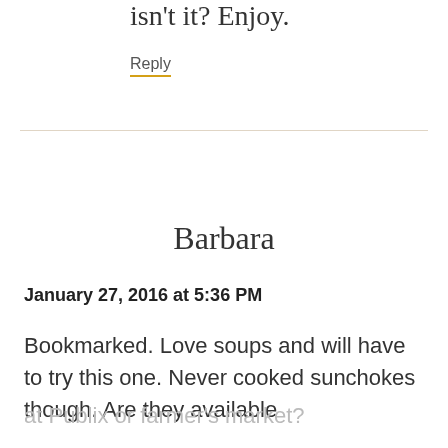isn't it? Enjoy.
Reply
Barbara
January 27, 2016 at 5:36 PM
Bookmarked. Love soups and will have to try this one. Never cooked sunchokes though. Are they available at Publix or farmer's market?